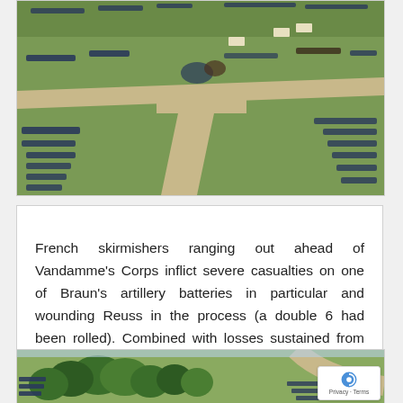[Figure (photo): Aerial view of a miniature wargame battlefield on green felt, showing formations of small painted military figurines (Napoleonic era) arranged across roads and terrain.]
French skirmishers ranging out ahead of Vandamme's Corps inflict severe casualties on one of Braun's artillery batteries in particular and wounding Reuss in the process (a double 6 had been rolled). Combined with losses sustained from the French grand batteries the Prussian artillery was looking a little threadbare.
[Figure (photo): Aerial view of a miniature wargame battlefield showing trees, infantry formations and terrain on a green surface.]